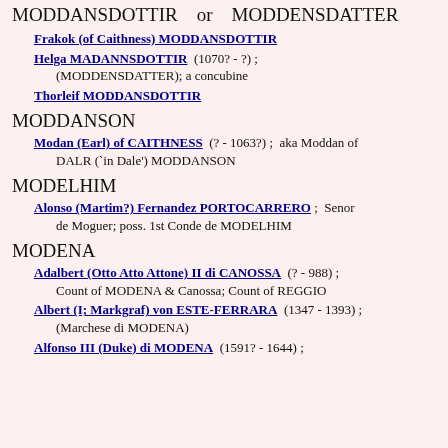MODDANSDOTTIR   or   MODDENSDATTER
Frakok (of Caithness) MODDANSDOTTIR
Helga MADANNSDOTTIR  (1070? - ?) ; (MODDENSDATTER); a concubine
Thorleif MODDANSDOTTIR
MODDANSON
Modan (Earl) of CAITHNESS  (? - 1063?) ;  aka Moddan of DALR (`in Dale') MODDANSON
MODELHIM
Alonso (Martim?) Fernandez PORTOCARRERO ;  Senor de Moguer; poss. 1st Conde de MODELHIM
MODENA
Adalbert (Otto Atto Attone) II di CANOSSA  (? - 988) ; Count of MODENA & Canossa; Count of REGGIO
Albert (I; Markgraf) von ESTE-FERRARA  (1347 - 1393) ; (Marchese di MODENA)
Alfonso III (Duke) di MODENA  (1591? - 1644) ;